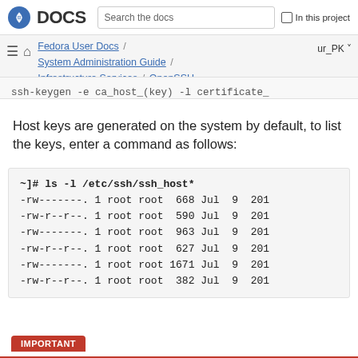DOCS  Search the docs  In this project
Fedora User Docs / System Administration Guide / Infrastructure Services / OpenSSH  ur_PK
ssh-keygen -e ca_host_(key) -l certificate_
Host keys are generated on the system by default, to list the keys, enter a command as follows:
~]# ls -l /etc/ssh/ssh_host*
-rw-------. 1 root root  668 Jul  9  201
-rw-r--r--. 1 root root  590 Jul  9  201
-rw-------. 1 root root  963 Jul  9  201
-rw-r--r--. 1 root root  627 Jul  9  201
-rw-------. 1 root root 1671 Jul  9  201
-rw-r--r--. 1 root root  382 Jul  9  201
IMPORTANT